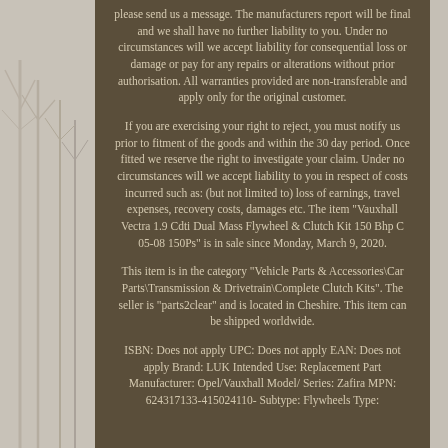please send us a message. The manufacturers report will be final and we shall have no further liability to you. Under no circumstances will we accept liability for consequential loss or damage or pay for any repairs or alterations without prior authorisation. All warranties provided are non-transferable and apply only for the original customer.
If you are exercising your right to reject, you must notify us prior to fitment of the goods and within the 30 day period. Once fitted we reserve the right to investigate your claim. Under no circumstances will we accept liability to you in respect of costs incurred such as: (but not limited to) loss of earnings, travel expenses, recovery costs, damages etc. The item "Vauxhall Vectra 1.9 Cdti Dual Mass Flywheel & Clutch Kit 150 Bhp C 05-08 150Ps" is in sale since Monday, March 9, 2020.
This item is in the category "Vehicle Parts & Accessories\Car Parts\Transmission & Drivetrain\Complete Clutch Kits". The seller is "parts2clear" and is located in Cheshire. This item can be shipped worldwide.
ISBN: Does not apply UPC: Does not apply EAN: Does not apply Brand: LUK Intended Use: Replacement Part Manufacturer: Opel/Vauxhall Model/ Series: Zafira MPN: 624317133-415024110- Subtype: Flywheels Type: